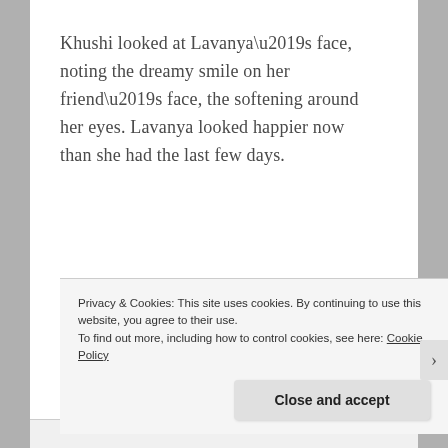Khushi looked at Lavanya’s face, noting the dreamy smile on her friend’s face, the softening around her eyes. Lavanya looked happier now than she had the last few days.
“What happened? All not well with you two?” Khushi’s voice carried concern.
Privacy & Cookies: This site uses cookies. By continuing to use this website, you agree to their use.
To find out more, including how to control cookies, see here: Cookie Policy